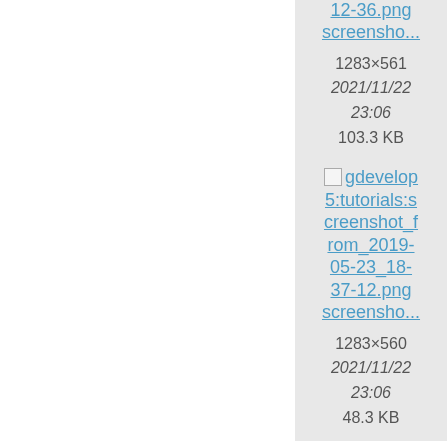[Figure (screenshot): Partial view of a file browser / wiki media gallery showing file cards in a 2-column grid. Left half of page is white (off-screen content). Right side shows two columns of file cards with broken image icons, filenames as links, and metadata (dimensions, date, file size). Visible cards include: screenshot_from_2019-05-20_18-12-36.png (1283×561, 2021/11/22 23:06, 103.3 KB), partial second card (1283×..., 2021/... 23:..., 69.x KB), screenshot_from_2019-05-23_18-37-12.png (1283×560, 2021/11/22 23:06, 48.3 KB), partial fourth card (1284×..., 2021/... 23:..., 46.x KB), and two more partial cards at bottom.]